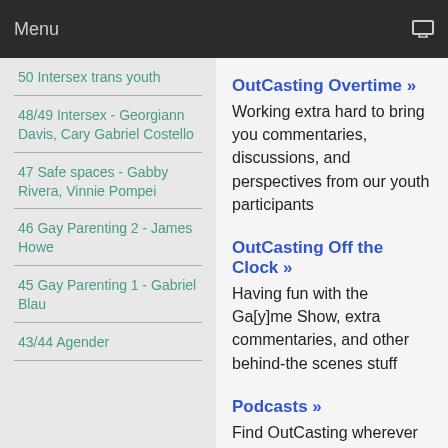Menu
50 Intersex trans youth
48/49 Intersex - Georgiann Davis, Cary Gabriel Costello
47 Safe spaces - Gabby Rivera, Vinnie Pompei
46 Gay Parenting 2 - James Howe
45 Gay Parenting 1 - Gabriel Blau
43/44 Agender
OutCasting Overtime »
Working extra hard to bring you commentaries, discussions, and perspectives from our youth participants
OutCasting Off the Clock »
Having fun with the Ga[y]me Show, extra commentaries, and other behind-the scenes stuff
Podcasts »
Find OutCasting wherever you get your podcasts